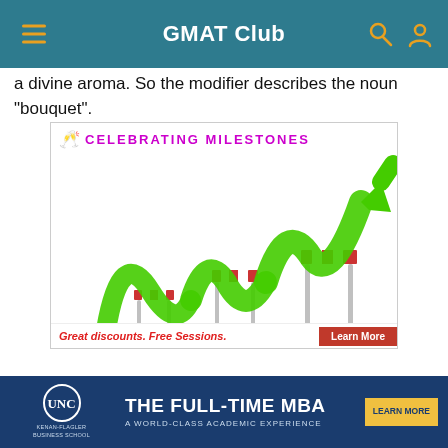GMAT Club
a divine aroma. So the modifier describes the noun "bouquet".
[Figure (illustration): Celebrating Milestones graphic showing a green arrow/hurdle track illustration with three progressively larger hurdles, arrow arcing upward. Text reads CELEBRATING MILESTONES with champagne glasses icon. Bottom strip: Great discounts. Free Sessions. Learn More button.]
Great discounts. Free Sessions.
[Figure (infographic): UNC Kenan-Flagler Business School banner ad: THE FULL-TIME MBA / A WORLD-CLASS ACADEMIC EXPERIENCE. LEARN MORE button.]